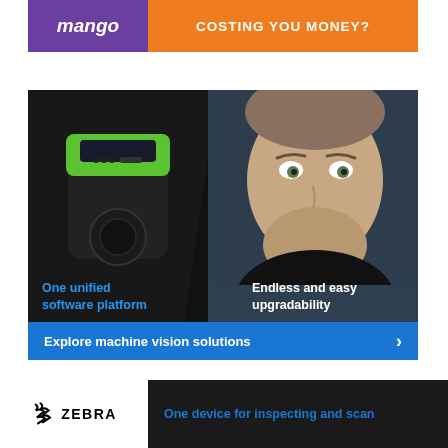[Figure (illustration): Top advertisement banner with purple left section and orange right section reading 'COSTING YOU MONEY?']
[Figure (illustration): Zebra Technologies advertisement showing a machine vision scanner device on the left and a person's face on the right with text 'One unified software platform' and 'Endless and easy upgradability', with a blue call-to-action bar reading 'Explore machine vision solutions']
[Figure (illustration): Bottom black banner with white Zebra logo box on left and blue text 'One device for inspecting and scan...' on right]